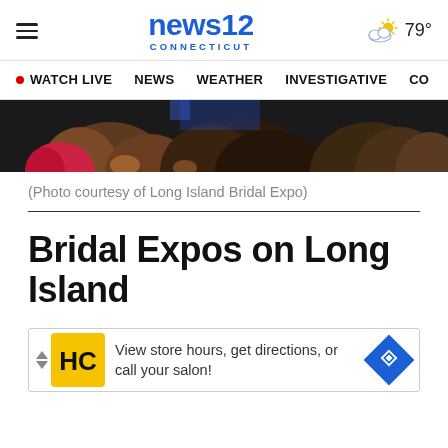news12 CONNECTICUT | 79°
WATCH LIVE  NEWS  WEATHER  INVESTIGATIVE  CO
[Figure (photo): Crowd of women with dark hair viewed from behind at an indoor event, partially visible at top of page]
(Photo courtesy of Long Island Bridal Expo)
Bridal Expos on Long Island
[Figure (other): Advertisement banner: View store hours, get directions, or call your salon! with HC logo in yellow square and blue diamond navigation icon]